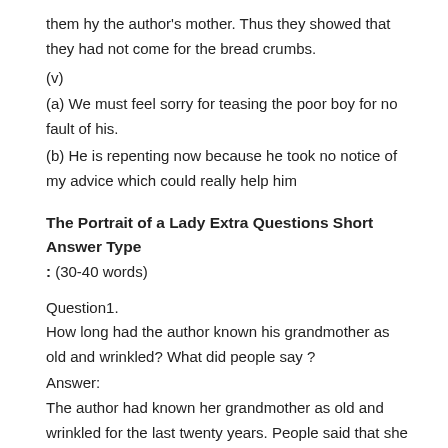them hy the author’s mother. Thus they showed that they had not come for the bread crumbs.
(v)
(a) We must feel sorry for teasing the poor boy for no fault of his.
(b) He is repenting now because he took no notice of my advice which could really help him
The Portrait of a Lady Extra Questions Short Answer Type
: (30-40 words)
Question1.
How long had the author known his grandmother as old and wrinkled? What did people say ?
Answer:
The author had known her grandmother as old and wrinkled for the last twenty years. People said that she had once been young and pretty and had even had a husband.